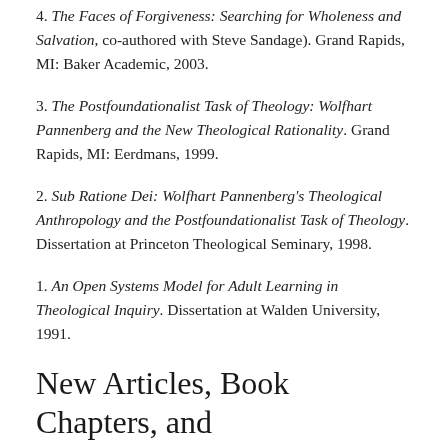4. The Faces of Forgiveness: Searching for Wholeness and Salvation, co-authored with Steve Sandage). Grand Rapids, MI: Baker Academic, 2003.
3. The Postfoundationalist Task of Theology: Wolfhart Pannenberg and the New Theological Rationality. Grand Rapids, MI: Eerdmans, 1999.
2. Sub Ratione Dei: Wolfhart Pannenberg's Theological Anthropology and the Postfoundationalist Task of Theology. Dissertation at Princeton Theological Seminary, 1998.
1. An Open Systems Model for Adult Learning in Theological Inquiry. Dissertation at Walden University, 1991.
New Articles, Book Chapters, and